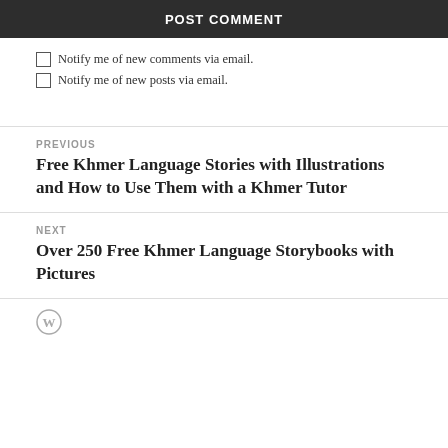POST COMMENT
Notify me of new comments via email.
Notify me of new posts via email.
PREVIOUS
Free Khmer Language Stories with Illustrations and How to Use Them with a Khmer Tutor
NEXT
Over 250 Free Khmer Language Storybooks with Pictures
[Figure (logo): WordPress logo circle icon]